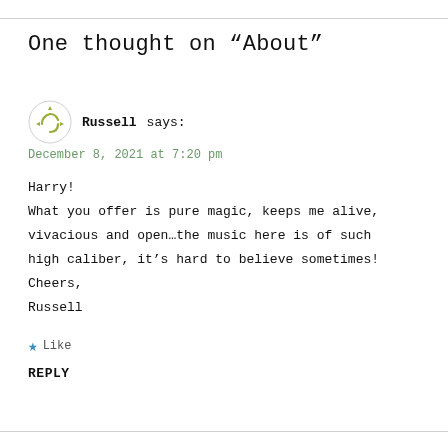One thought on “About”
Russell says:
December 8, 2021 at 7:20 pm
Harry!
What you offer is pure magic, keeps me alive, vivacious and open…the music here is of such high caliber, it’s hard to believe sometimes!
Cheers,
Russell
★ Like
REPLY